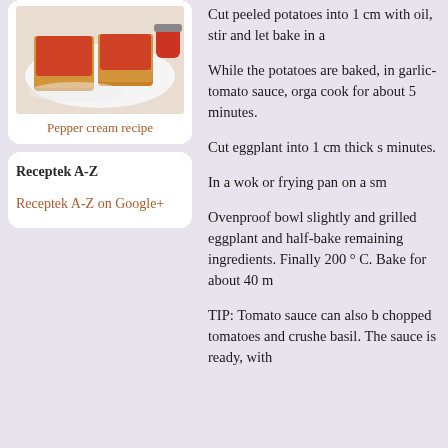[Figure (photo): Photo of bread slices topped with red pepper cream spread, with a jar in the background]
Pepper cream recipe
Receptek A-Z
Receptek A-Z on Google+
Cut peeled potatoes into 1 cm with oil, stir and let bake in a
While the potatoes are baked, in garlic- tomato sauce, orga cook for about 5 minutes.
Cut eggplant into 1 cm thick s minutes.
In a wok or frying pan on a sm
Ovenproof bowl slightly and grilled eggplant and half-bake remaining ingredients. Finally 200 ° C. Bake for about 40 m
TIP: Tomato sauce can also b chopped tomatoes and crushe basil. The sauce is ready, with